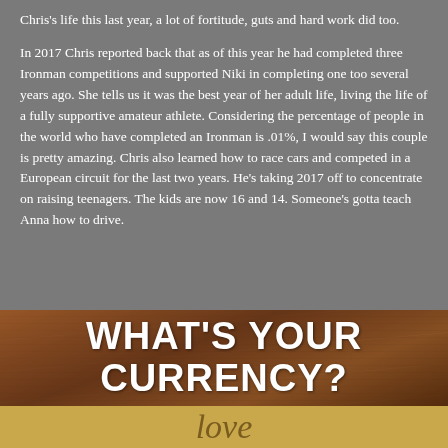Chris's life this last year, a lot of fortitude, guts and hard work did too.
In 2017 Chris reported back that as of this year he had completed three Ironman competitions and supported Niki in completing one too several years ago. She tells us it was the best year of her adult life, living the life of a fully supportive amateur athlete. Considering the percentage of people in the world who have completed an Ironman is .01%, I would say this couple is pretty amazing. Chris also learned how to race cars and competed in a European circuit for the last two years. He's taking 2017 off to concentrate on raising teenagers. The kids are now 16 and 14. Someone's gotta teach Anna how to drive.
[Figure (illustration): Wooden plank background texture with bold white text overlay reading WHAT'S YOUR CURRENCY?]
WHAT'S YOUR CURRENCY?
love